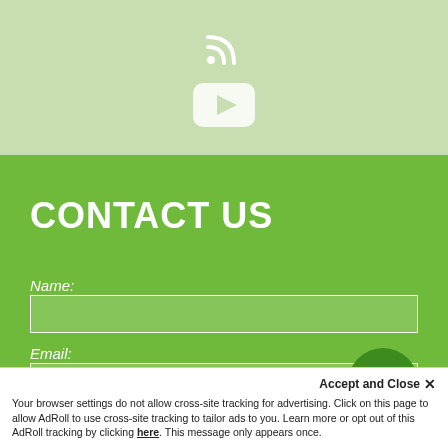[Figure (illustration): Light green top section with RSS feed icon (white) and YouTube play button icon (white rounded rectangle with triangle)]
CONTACT US
Name:
Email:
[Figure (illustration): Dark green circular button with white plus/arrow icon]
Accept and Close ✕
Your browser settings do not allow cross-site tracking for advertising. Click on this page to allow AdRoll to use cross-site tracking to tailor ads to you. Learn more or opt out of this AdRoll tracking by clicking here. This message only appears once.